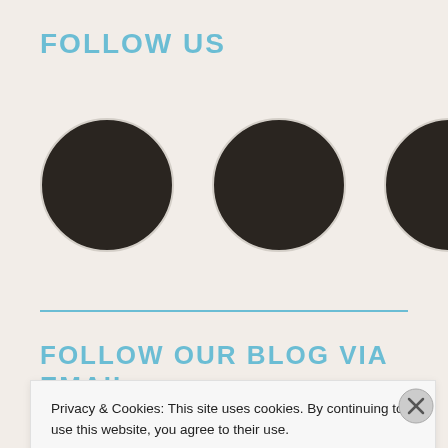FOLLOW US
[Figure (illustration): Three dark circular social media icon buttons side by side]
FOLLOW OUR BLOG VIA EMAIL
Bookworm? Comics fan? Interested in knowing what books are mind-blowing? Subscribe to us
Privacy & Cookies: This site uses cookies. By continuing to use this website, you agree to their use.
To find out more, including how to control cookies, see here: Cookie Policy
Close and accept